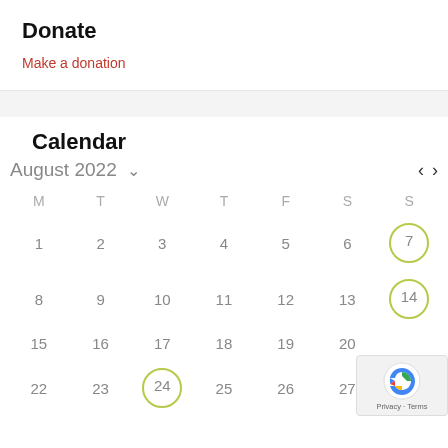Donate
Make a donation
Calendar
August 2022
| M | T | W | T | F | S | S |
| --- | --- | --- | --- | --- | --- | --- |
| 1 | 2 | 3 | 4 | 5 | 6 | 7 |
| 8 | 9 | 10 | 11 | 12 | 13 | 14 |
| 15 | 16 | 17 | 18 | 19 | 20 |  |
| 22 | 23 | 24 | 25 | 26 | 27 |  |